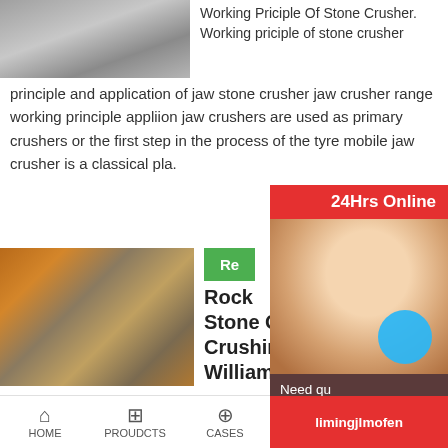[Figure (photo): Stone crusher/quarry site photo showing crushed stone material]
Working Priciple Of Stone Crusher. Working priciple of stone crusher principle and application of jaw stone crusher jaw crusher range working principle appliion jaw crushers are used as primary crushers or the first step in the process of the tyre mobile jaw crusher is a classical pla.
[Figure (photo): Rock stone crusher industrial equipment photo with orange metal framework]
Re
Rock Stone Crush Crushing Ma Williams ...
We design build a rock stone crushers for industrial applications. Wh
[Figure (photo): Customer service agent with headset - 24Hrs Online support panel]
24Hrs Online
Need qu & suggestion?
Chat Now
Enquiry
limingjlmofen
HOME   PROUDCTS   CASES   limingjlmofen